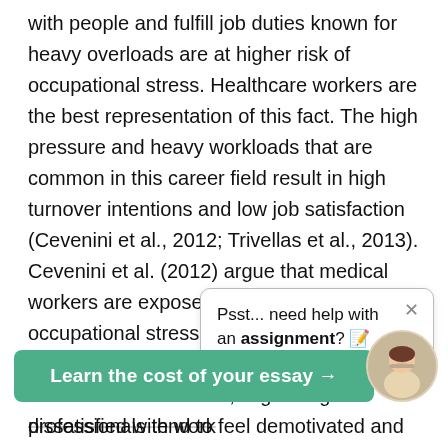with people and fulfill job duties known for heavy overloads are at higher risk of occupational stress. Healthcare workers are the best representation of this fact. The high pressure and heavy workloads that are common in this career field result in high turnover intentions and low job satisfaction (Cevenini et al., 2012; Trivellas et al., 2013). Cevenini et al. (2012) argue that medical workers are exposed to the risks of occupational stress because of a lack of social appraisal of their work. Because they are not often rewarded, healthcare professionals tend to feel demotivated and believe that their work is ineffective, despite the fact that they s[save thousands of lives] annually. Such feelings ma[y lead to burnout,] which foster a desire to qui[t, or an unwillingness to] improve and develop professionally (Cevenini et al., 2[012]). [Research shows] that there are stress-related reasons for growing dissatisfied with work
[Figure (screenshot): Popup overlay box reading 'Psst... need help with an assignment? 📝' with a close (×) button]
[Figure (illustration): Green CTA button reading 'Learn the cost of your essay →']
[Figure (photo): Circular avatar photo of a young woman with glasses]